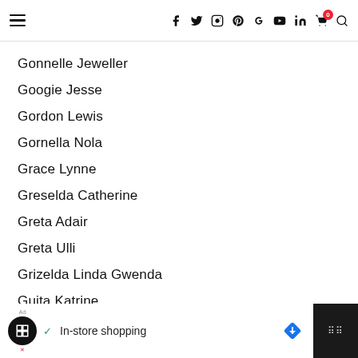Navigation header with hamburger menu and social icons (f, Twitter, Instagram, Pinterest, G+, YouTube, in, cart(0), search)
Gonnelle Jeweller
Googie Jesse
Gordon Lewis
Gornella Nola
Grace Lynne
Greselda Catherine
Greta Adair
Greta Ulli
Grizelda Linda Gwenda
Guita Katrine
Gwenda Vanessa
Hampton Dudley
Ad banner: In-store shopping